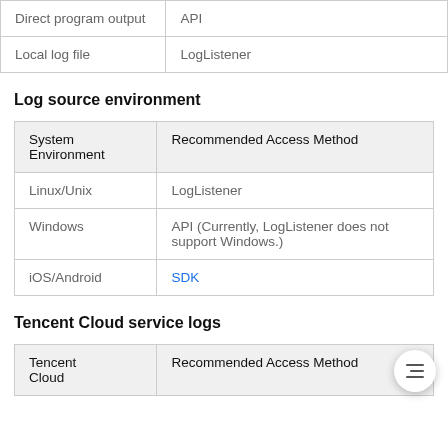|  |  |
| --- | --- |
| Direct program output | API |
| Local log file | LogListener |
Log source environment
| System Environment | Recommended Access Method |
| --- | --- |
| Linux/Unix | LogListener |
| Windows | API (Currently, LogListener does not support Windows.) |
| iOS/Android | SDK |
Tencent Cloud service logs
| Tencent Cloud | Recommended Access Method |
| --- | --- |